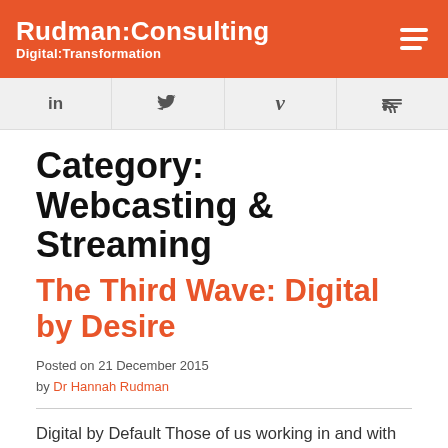Rudman:Consulting Digital:Transformation
[Figure (other): Social media icon bar with LinkedIn, Twitter, Vimeo, and RSS icons]
Category: Webcasting & Streaming
The Third Wave: Digital by Desire
Posted on 21 December 2015
by Dr Hannah Rudman
Digital by Default Those of us working in and with the public sector, or those of us in receipt of public funds have been working with an ethos of "Digital by Default" since 2012. Then, the UK Government released the Government Digital